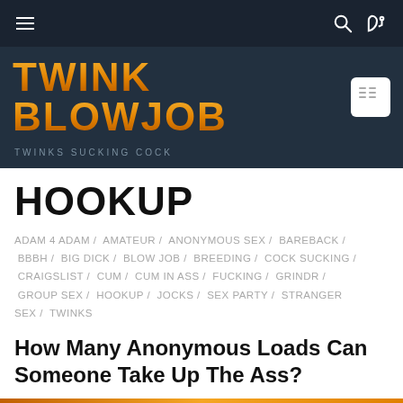≡  🔍 ⊃
TWINK BLOWJOB
TWINKS SUCKING COCK
HOOKUP
ADAM 4 ADAM / AMATEUR / ANONYMOUS SEX / BAREBACK / BBBH / BIG DICK / BLOW JOB / BREEDING / COCK SUCKING / CRAIGSLIST / CUM / CUM IN ASS / FUCKING / GRINDR / GROUP SEX / HOOKUP / JOCKS / SEX PARTY / STRANGER SEX / TWINKS
How Many Anonymous Loads Can Someone Take Up The Ass?
Twink Tom | Sketchy Sex | 0 Comment
December 12, 2015